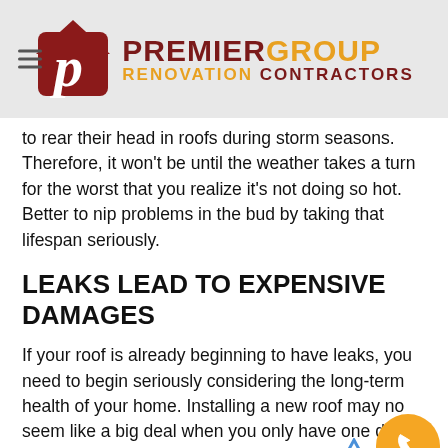PREMIER GROUP RENOVATION CONTRACTORS
to rear their head in roofs during storm seasons. Therefore, it won't be until the weather takes a turn for the worst that you realize it's not doing so hot. Better to nip problems in the bud by taking that lifespan seriously.
LEAKS LEAD TO EXPENSIVE DAMAGES
If your roof is already beginning to have leaks, you need to begin seriously considering the long-term health of your home. Installing a new roof may not seem like a big deal when you only have one drip in the kitchen. However, summer is only just beginning. If your roof is on the decline and...